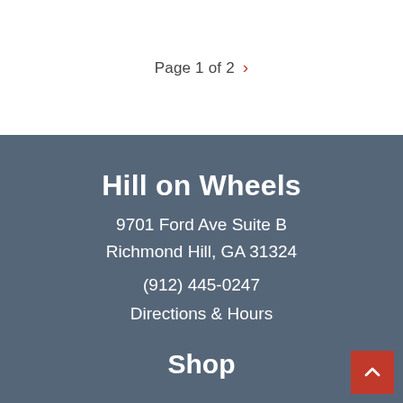Page 1 of 2 >
Hill on Wheels
9701 Ford Ave Suite B
Richmond Hill, GA 31324
(912) 445-0247
Directions & Hours
Shop